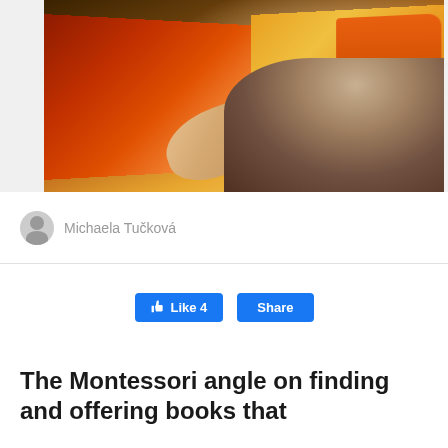[Figure (photo): A person reading a colorful children's picture book, showing illustrated pages with an orange truck and red-themed spread. A child's head is partially visible at the bottom right.]
Michaela Tučková
[Figure (screenshot): Facebook Like and Share buttons. Like button shows thumbs up icon and count of 4. Share button is plain.]
The Montessori angle on finding and offering books that